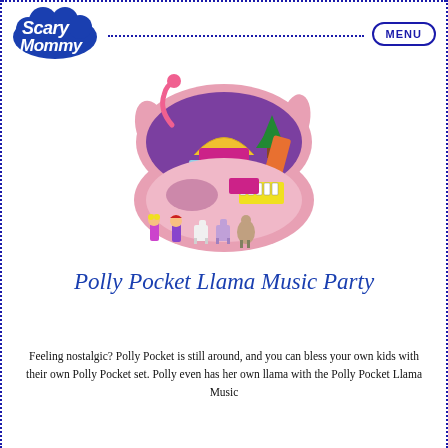Scary Mommy | MENU
[Figure (photo): Polly Pocket Llama Music Party toy set open compact showing colorful llama-shaped case with mini figures, llamas, and accessories displayed in front]
Polly Pocket Llama Music Party
Feeling nostalgic? Polly Pocket is still around, and you can bless your own kids with their own Polly Pocket set. Polly even has her own llama with the Polly Pocket Llama Music